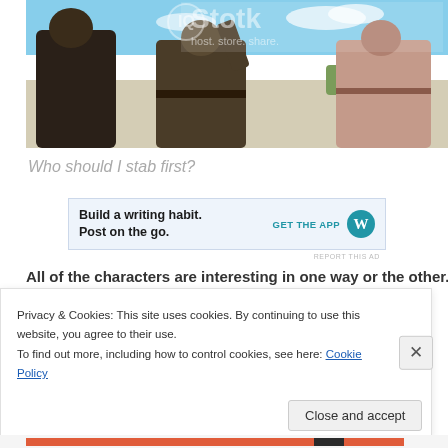[Figure (photo): A scene showing people in pirate costumes on a beach, with a watermark overlay reading a photo hosting/sharing service logo and tagline 'host. store. share.']
Who should I stab first?
[Figure (other): Advertisement banner: 'Build a writing habit. Post on the go.' with 'GET THE APP' call to action and WordPress logo]
REPORT THIS AD
All of the characters are interesting in one way or the other. Most...
Privacy & Cookies: This site uses cookies. By continuing to use this website, you agree to their use.
To find out more, including how to control cookies, see here: Cookie Policy
Close and accept